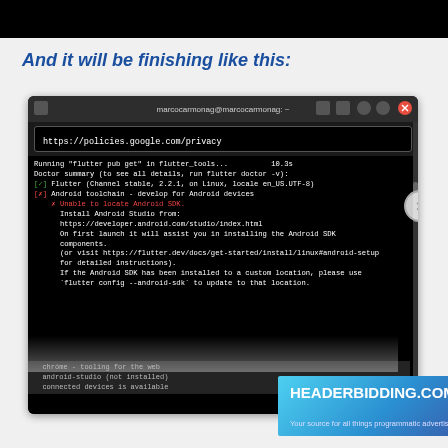[Figure (screenshot): Top black bar (partial screenshot of previous content)]
And it will be finishing like this:
[Figure (screenshot): Terminal screenshot showing flutter pub get output with Doctor summary. URL bar shows https://policies.google.com/privacy. Output shows Flutter channel stable 2.2.1 check, Android toolchain error with Unable to locate Android SDK message and instructions to install Android Studio.]
[Figure (screenshot): Advertisement banner for HEADERBIDDING.COM - Your source for all things programmatic advertising.]